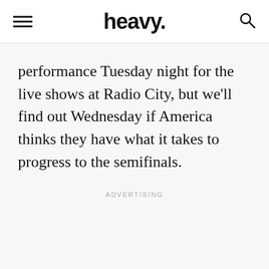heavy.
performance Tuesday night for the live shows at Radio City, but we'll find out Wednesday if America thinks they have what it takes to progress to the semifinals.
ADVERTISING